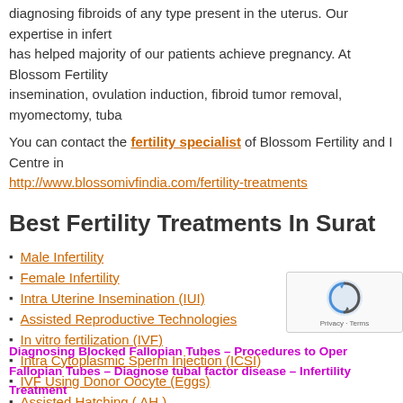diagnosing fibroids of any type present in the uterus. Our expertise in infert has helped majority of our patients achieve pregnancy. At Blossom Fertility insemination, ovulation induction, fibroid tumor removal, myomectomy, tuba
You can contact the fertility specialist of Blossom Fertility and I Centre in http://www.blossomivfindia.com/fertility-treatments
Best Fertility Treatments In Surat
Male Infertility
Female Infertility
Intra Uterine Insemination (IUI)
Assisted Reproductive Technologies
In vitro fertilization (IVF)
Intra Cytoplasmic Sperm Injection (ICSI)
IVF Using Donor Oocyte (Eggs)
Assisted Hatching ( AH )
Surrogacy Treatment India
Diagnosing Blocked Fallopian Tubes – Procedures to Open Fallopian Tubes – Diagnose tubal factor disease – Infertility Treatment